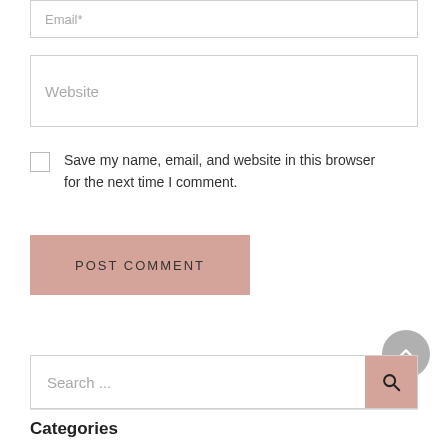Email*
Website
Save my name, email, and website in this browser for the next time I comment.
POST COMMENT
Search ...
Categories